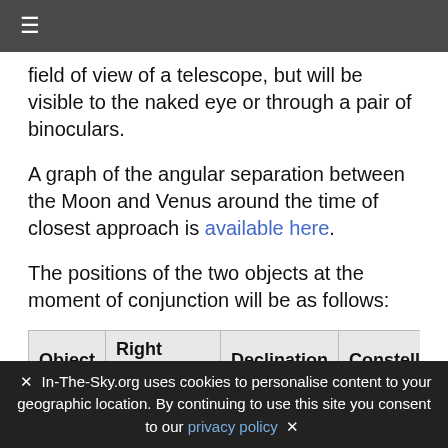≡
field of view of a telescope, but will be visible to the naked eye or through a pair of binoculars.
A graph of the angular separation between the Moon and Venus around the time of closest approach is available here.
The positions of the two objects at the moment of conjunction will be as follows:
| Object | Right Ascension | Declination | Constellation | Magn |
| --- | --- | --- | --- | --- |
| The Moon | 23h37m10s | -07°26' | Aquarius | -10.6 |
✕  In-The-Sky.org uses cookies to personalise content to your geographic location. By continuing to use this site you consent to our privacy policy  ✕